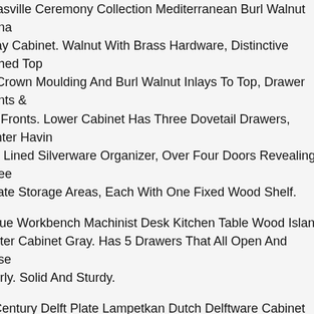Thomasville Ceremony Collection Mediterranean Burl Walnut China Display Cabinet. Walnut With Brass Hardware, Distinctive Arched Top With Crown Moulding And Burl Walnut Inlays To Top, Drawer Fronts & Door Fronts. Lower Cabinet Has Three Dovetail Drawers, Center Having Felt Lined Silverware Organizer, Over Four Doors Revealing Three Separate Storage Areas, Each With One Fixed Wood Shelf.
Antique Workbench Machinist Desk Kitchen Table Wood Island Counter Cabinet Gray. Has 5 Drawers That All Open And Close Properly. Solid And Sturdy.
18th Century Delft Plate Lampetkan Dutch Delftware Cabinet Plate Colonial. Signed On The Back Lpk - Lampetkan. Large Dutch Delftware Delft Earthenware Plate. Origin Netherlands 18th Century 1760 - 1780.
White Of Mebane Monumental Burl Walnut French Provincial China Cabinet